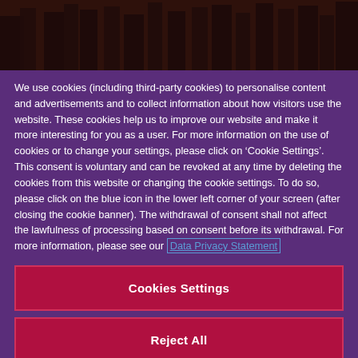[Figure (photo): Dark forest/tree background image at top of page]
We use cookies (including third-party cookies) to personalise content and advertisements and to collect information about how visitors use the website. These cookies help us to improve our website and make it more interesting for you as a user. For more information on the use of cookies or to change your settings, please click on ‘Cookie Settings’. This consent is voluntary and can be revoked at any time by deleting the cookies from this website or changing the cookie settings. To do so, please click on the blue icon in the lower left corner of your screen (after closing the cookie banner). The withdrawal of consent shall not affect the lawfulness of processing based on consent before its withdrawal. For more information, please see our Data Privacy Statement
Cookies Settings
Reject All